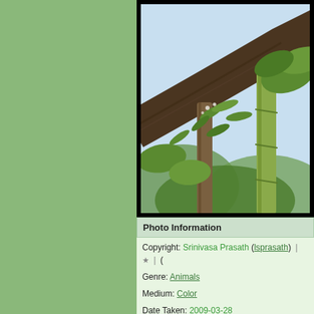[Figure (photo): Photograph of tree branches with green leaves against a bright sky, partially cropped, with a black border frame around it.]
Photo Information
Copyright: Srinivasa Prasath (lsprasath) | ★ | (
Genre: Animals
Medium: Color
Date Taken: 2009-03-28
Categories: Birds
Camera: Canon EOS 450D (Rebel XSi), Cam... f/4-5.6 IS